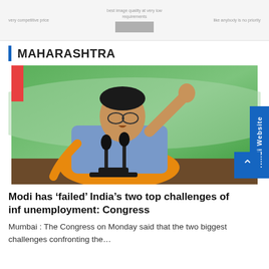very competitive price | best image quality at very low requirements | like anybody is no priority
MAHARASHTRA
[Figure (photo): A man wearing glasses and an orange vest over a blue shirt, speaking at a microphone at a press conference, raising his fist, with a green background.]
Modi has ‘failed’ India’s two top challenges of inflation and unemployment: Congress
Mumbai : The Congress on Monday said that the two biggest challenges confronting the…